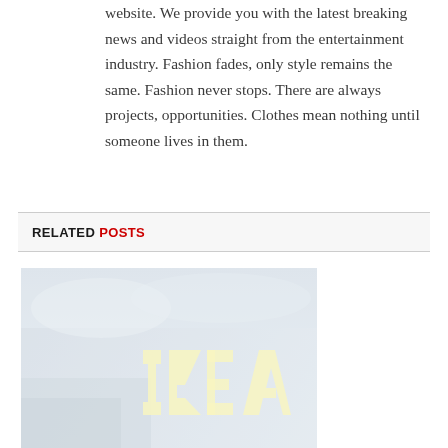website. We provide you with the latest breaking news and videos straight from the entertainment industry. Fashion fades, only style remains the same. Fashion never stops. There are always projects, opportunities. Clothes mean nothing until someone lives in them.
RELATED POSTS
[Figure (photo): A faded, washed-out photo of an IKEA store sign showing the yellow IKEA logo on a light blue background]